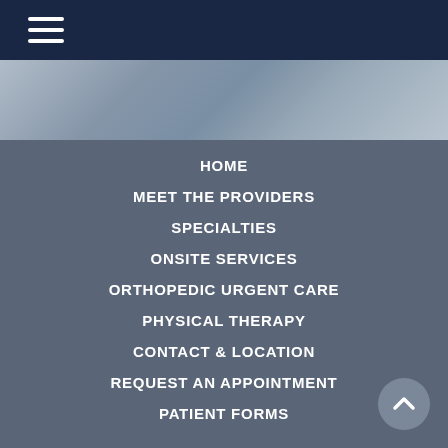Navigation bar with hamburger menu icon
[Figure (photo): Blurred background hero image in blue-gray tones]
HOME
MEET THE PROVIDERS
SPECIALTIES
ONSITE SERVICES
ORTHOPEDIC URGENT CARE
PHYSICAL THERAPY
CONTACT & LOCATION
REQUEST AN APPOINTMENT
PATIENT FORMS